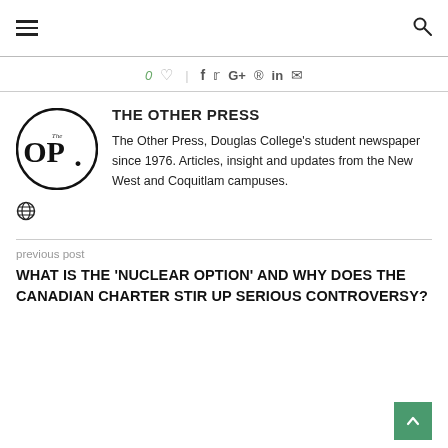≡  🔍
0 ♡ | f t G+ ⊕ in ✉
[Figure (logo): The Other Press (The OP.) circular logo in black and white]
THE OTHER PRESS
The Other Press, Douglas College's student newspaper since 1976. Articles, insight and updates from the New West and Coquitlam campuses.
🌐
previous post
WHAT IS THE 'NUCLEAR OPTION' AND WHY DOES THE CANADIAN CHARTER STIR UP SERIOUS CONTROVERSY?